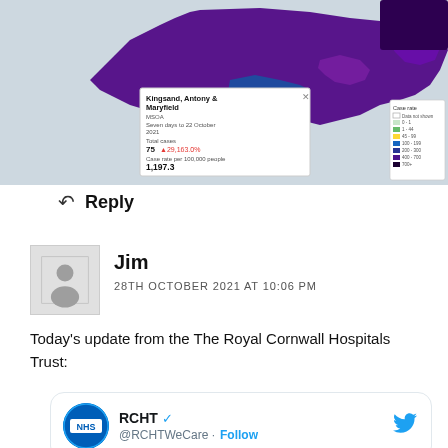[Figure (map): COVID-19 case rate map of South West England (Cornwall area) showing colored regions by case rate per 100,000 people. A popup shows 'Kingsand, Antony & Maryfield, MSOA, Seven days to 22 October 2021, Total cases: 75 (+29,163.0%), Case rate per 100,000 people: 1,197.3'. Legend shows case rate bands from 'Data not shown' to '500+' in colors from green to dark purple.]
Reply
Jim
28TH OCTOBER 2021 AT 10:06 PM
Today's update from the The Royal Cornwall Hospitals Trust:
RCHT @RCHTWeCare · Follow